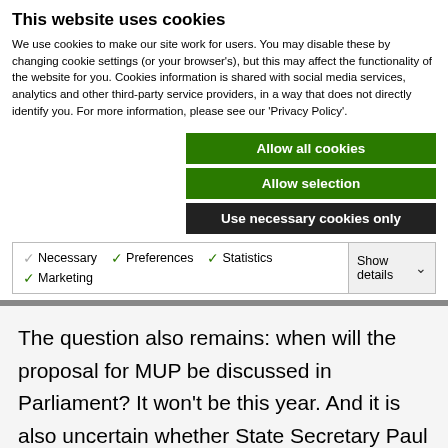This website uses cookies
We use cookies to make our site work for users. You may disable these by changing cookie settings (or your browser's), but this may affect the functionality of the website for you. Cookies information is shared with social media services, analytics and other third-party service providers, in a way that does not directly identify you. For more information, please see our 'Privacy Policy'.
Allow all cookies
Allow selection
Use necessary cookies only
Necessary  Preferences  Statistics  Marketing  Show details
The question also remains: when will the proposal for MUP be discussed in Parliament? It won't be this year. And it is also uncertain whether State Secretary Paul Blokhuis, who has set the alcohol table and is personally very committed to MUP, will